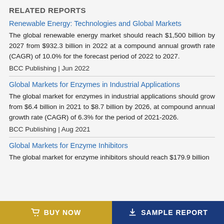RELATED REPORTS
Renewable Energy: Technologies and Global Markets
The global renewable energy market should reach $1,500 billion by 2027 from $932.3 billion in 2022 at a compound annual growth rate (CAGR) of 10.0% for the forecast period of 2022 to 2027.
BCC Publishing | Jun 2022
Global Markets for Enzymes in Industrial Applications
The global market for enzymes in industrial applications should grow from $6.4 billion in 2021 to $8.7 billion by 2026, at compound annual growth rate (CAGR) of 6.3% for the period of 2021-2026.
BCC Publishing | Aug 2021
Global Markets for Enzyme Inhibitors
The global market for enzyme inhibitors should reach $179.9 billion
BUY NOW
SAMPLE REPORT